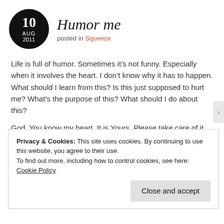Humor me
posted in Squeeze
Life is full of humor.  Sometimes it’s not funny.  Especially when it involves the heart.  I don’t know why it has to happen.  What should I learn from this?  Is this just supposed to hurt me?  What’s the purpose of this?  What should I do about this?
God, You know my heart.  It is Yours.  Please take care of it. 🙂
Privacy & Cookies: This site uses cookies. By continuing to use this website, you agree to their use.
To find out more, including how to control cookies, see here: Cookie Policy